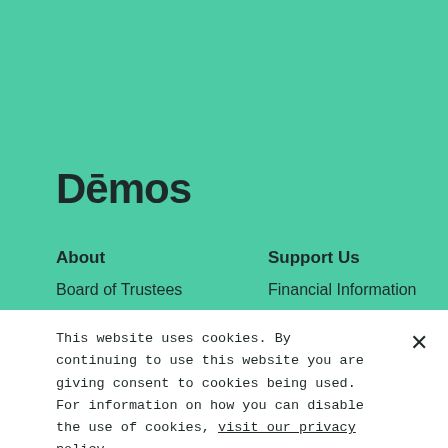Dēmos
About
Board of Trustees
Staff
Careers
Privacy Policy
Reprint Permissions
Support Us
Financial Information
Join Our Email List
This website uses cookies. By continuing to use this website you are giving consent to cookies being used. For information on how you can disable the use of cookies, visit our privacy policy.